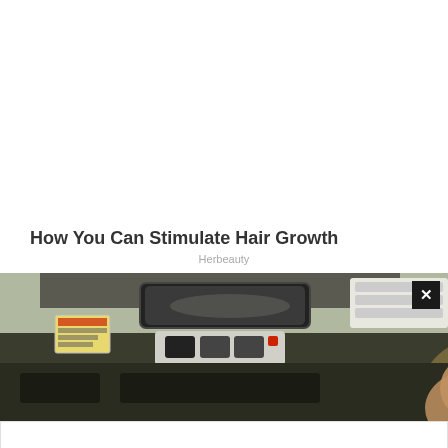How You Can Stimulate Hair Growth
Herbeauty
[Figure (photo): Car interior dashboard photo showing rearview mirror and dashboard elements]
[Figure (infographic): Advertisement banner: Members save big - World Market, with logo and navigation arrow icon, play and close controls]